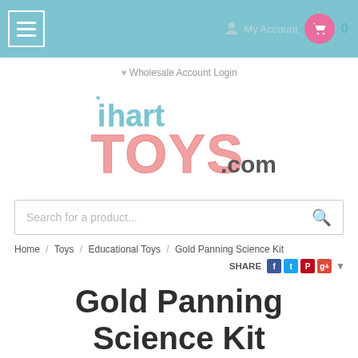Navigation bar with hamburger menu, My Account, and cart (0)
♥ Wholesale Account Login
[Figure (logo): i hart TOYS.com logo — 'i hart' in blue bubble letters, 'TOYS' in large pink bubble letters, '.com' in dark gray]
Search for a product...
Home / Toys / Educational Toys / Gold Panning Science Kit
SHARE [Facebook] [Twitter] [Pinterest] [Google+] ▼
Gold Panning Science Kit